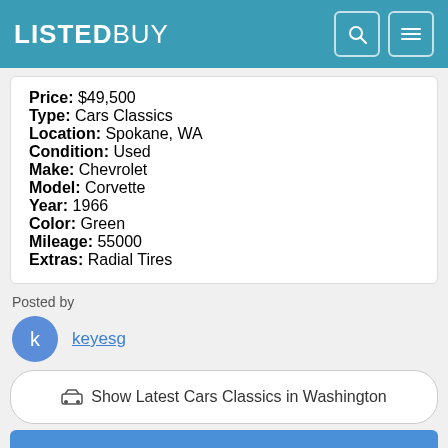LISTEDBUY
Price: $49,500
Type: Cars Classics
Location: Spokane, WA
Condition: Used
Make: Chevrolet
Model: Corvette
Year: 1966
Color: Green
Mileage: 55000
Extras: Radial Tires
Posted by
keyesg
Show Latest Cars Classics in Washington
Save Ad
Contact Seller